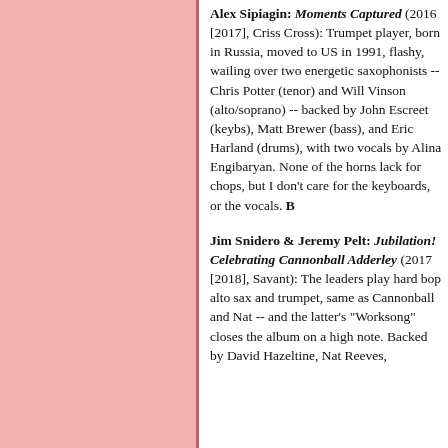Alex Sipiagin: Moments Captured (2016 [2017], Criss Cross): Trumpet player, born in Russia, moved to US in 1991, flashy, wailing over two energetic saxophonists -- Chris Potter (tenor) and Will Vinson (alto/soprano) -- backed by John Escreet (keybs), Matt Brewer (bass), and Eric Harland (drums), with two vocals by Alina Engibaryan. None of the horns lack for chops, but I don't care for the keyboards, or the vocals. B
Jim Snidero & Jeremy Pelt: Jubilation! Celebrating Cannonball Adderley (2017 [2018], Savant): The leaders play hard bop alto sax and trumpet, same as Cannonball and Nat -- and the latter's "Worksong" closes the album on a high note. Backed by David Hazeltine, Nat Reeves,